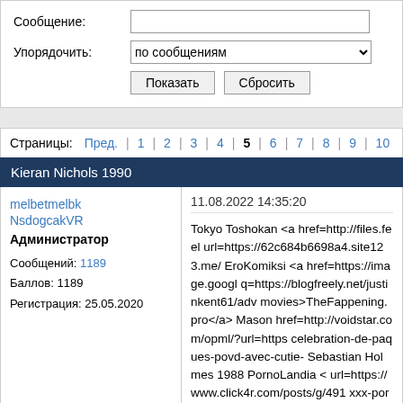Сообщение: [text input]
Упорядочить: по сообщениям [dropdown]
Показать  Сбросить
Страницы: Пред. | 1 | 2 | 3 | 4 | 5 | 6 | 7 | 8 | 9 | 10
Kieran Nichols 1990
melbetmelbk
NsdogcakVR
Администратор
Сообщений: 1189
Баллов: 1189
Регистрация: 25.05.2020
11.08.2022 14:35:20

Tokyo Toshokan <a href=http://files.feel url=https://62c684b6698a4.site123.me/ EroKomiksi <a href=https://image.googl q=https://blogfreely.net/justinkent61/adv movies>TheFappening.pro</a> Mason href=http://voidstar.com/opml/?url=https celebration-de-paques-povd-avec-cutie- Sebastian Holmes 1988 PornoLandia < url=https://www.click4r.com/posts/g/491 xxx-porno>CamWhoresBay</a> Oliver href=https://images.google.co.ve/url?q= href=t McPictHaldon theFl